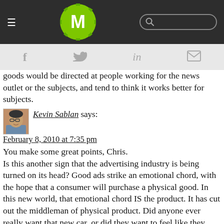M (site header with logo, hamburger menu, and search bar)
goods would be directed at people working for the news outlet or the subjects, and tend to think it works better for subjects.
Kevin Sablan says:
February 8, 2010 at 7:35 pm
You make some great points, Chris.
Is this another sign that the advertising industry is being turned on its head? Good ads strike an emotional chord, with the hope that a consumer will purchase a physical good. In this new world, that emotional chord IS the product. It has cut out the middleman of physical product. Did anyone ever really want that new car, or did they want to feel like they were in control of powerful machine? Think about the manufacturing implications. No physical overhead. No shipping. Fewer human resources.
Can news organizations produce and sell virtual goods? If we look at current virtual goods models, the platform and game developers are the ones making money. Will news companies have to develop and nurture a social network and or software to be profitable in